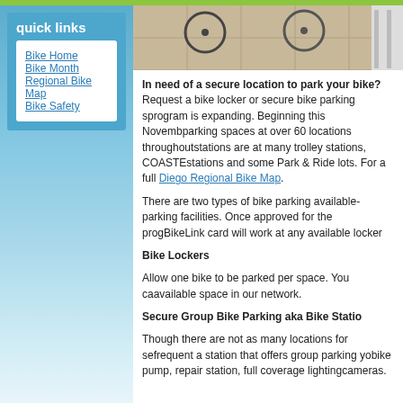quick links
Bike Home
Bike Month
Regional Bike Map
Bike Safety
[Figure (photo): Bicycles parked in a secure bike parking area, showing wheels and handlebars near a tiled floor and wall.]
In need of a secure location to park your bike? Request a bike locker or secure bike parking space — our program is expanding. Beginning this November, we will have parking spaces at over 60 locations throughout the region. Stations are at many trolley stations, COASTER stations and some Park & Ride lots. For a full list, see the San Diego Regional Bike Map.
There are two types of bike parking available— lockers and parking facilities. Once approved for the program, your BikeLink card will work at any available locker.
Bike Lockers
Allow one bike to be parked per space. You can use any available space in our network.
Secure Group Bike Parking aka Bike Stations
Though there are not as many locations for secure group parking, if you frequent a station that offers group parking you will have access to a bike pump, repair station, full coverage lighting, and security cameras.